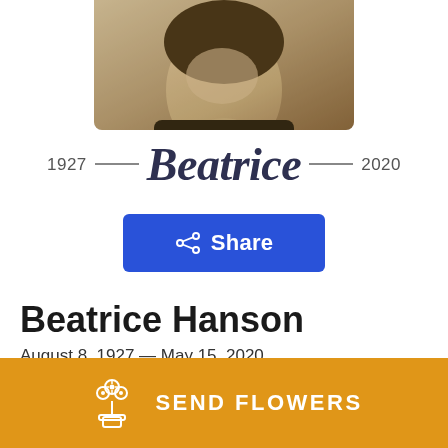[Figure (photo): Sepia-toned portrait photo of a person, cropped at chin level, upper portion of face visible]
1927 — Beatrice — 2020
[Figure (other): Blue 'Share' button with share icon]
Beatrice Hanson
August 8, 1927 — May 15, 2020
[Figure (other): Orange 'Send Flowers' button with flower bouquet icon]